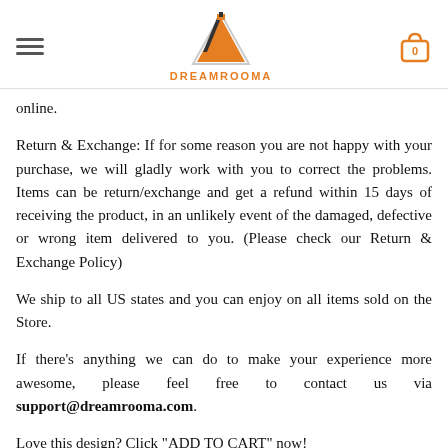DREAMROOMA
online.
Return & Exchange: If for some reason you are not happy with your purchase, we will gladly work with you to correct the problems. Items can be return/exchange and get a refund within 15 days of receiving the product, in an unlikely event of the damaged, defective or wrong item delivered to you. (Please check our Return & Exchange Policy)
We ship to all US states and you can enjoy on all items sold on the Store.
If there’s anything we can do to make your experience more awesome, please feel free to contact us via support@dreamrooma.com.
Love this design? Click “ADD TO CART” now!